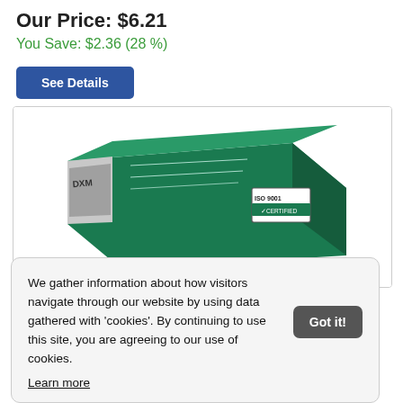Our Price: $6.21
You Save: $2.36 (28 %)
See Details
[Figure (photo): Green product box with ISO 9001 certification label and brand markings]
We gather information about how visitors navigate through our website by using data gathered with 'cookies'. By continuing to use this site, you are agreeing to our use of cookies.
Learn more
Got it!